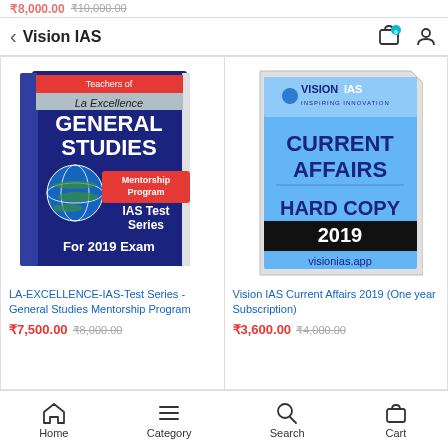Vision IAS
₹8,000.00 ₹10,000.00
[Figure (photo): LA Excellence General Studies Mentorship Program IAS Test Series For 2019 Exam book cover]
LA-EXCELLENCE-IAS-Test Series -General Studies Mentorship Program
₹7,500.00 ₹8,000.00
[Figure (photo): Vision IAS Current Affairs Hard Copy 2019 book cover showing visionias.app]
Vision IAS Current Affairs 2019 (One year Subscription)
₹3,600.00 ₹4,000.00
Home  Category  Search  Cart